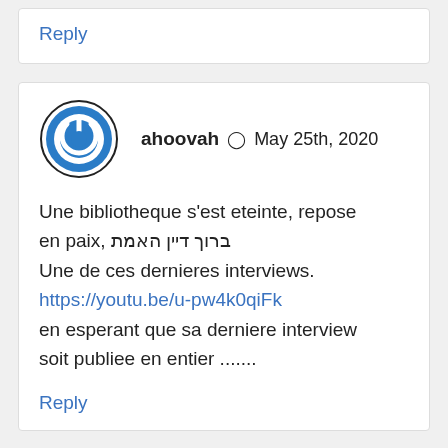Reply
ahoovah  May 25th, 2020
Une bibliotheque s'est eteinte, repose en paix, ברוך דיין האמת
Une de ces dernieres interviews.
https://youtu.be/u-pw4k0qiFk
en esperant que sa derniere interview soit publiee en entier .......
Reply